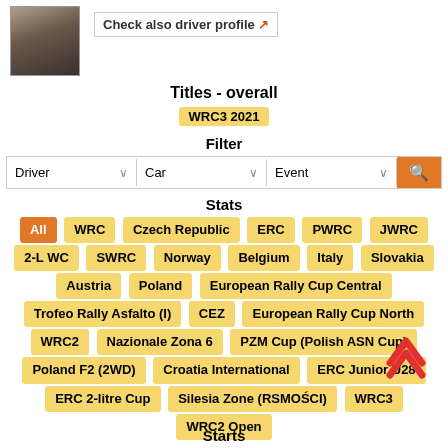[Figure (photo): Driver headshot photo thumbnail]
Check also driver profile ↗
Titles - overall
WRC3 2021
Filter
Driver  ∨   Car  ∨   Event  ∨  [search]
Stats
All  WRC  Czech Republic  ERC  PWRC  JWRC  2-L WC  SWRC  Norway  Belgium  Italy  Slovakia  Austria  Poland  European Rally Cup Central  Trofeo Rally Asfalto (I)  CEZ  European Rally Cup North  WRC2  Nazionale Zona 6  PZM Cup (Polish ASN Cup)  Poland F2 (2WD)  Croatia International  ERC Junior U28  ERC 2-litre Cup  Silesia Zone (RSMOŚCI)  WRC3  WRC2 Open
Rally  Starts total: 263  Retirements: 68 (25.9%)  Total victories: 30 (11.4%)
Show event only  Starts total: 1  Retirements: 0(0.0%)
Starts